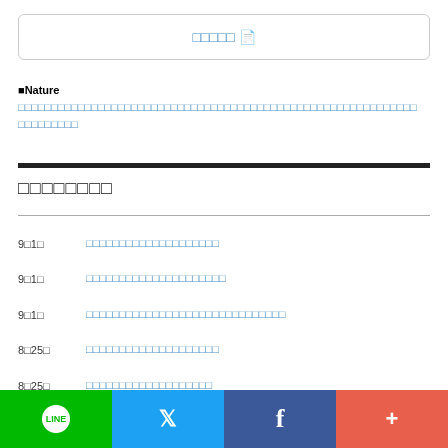[Figure (other): Search box with document icon and Japanese text]
■Nature に掲載された論文タイトルの日本語訳と要旨（日本語）を無料で読むことができます。
新着記事一覧
9月1日　リンクテキスト(日本語タイトル)
9月1日　リンクテキスト(日本語タイトル)
9月1日　リンクテキスト(日本語タイトル長め)
8月25日　リンクテキスト(日本語)
8月25日　リンクテキスト(日本語)
8月18日　リンクテキスト(日本語)
[Figure (other): Social share bar with LINE, Twitter, Facebook, and more buttons]